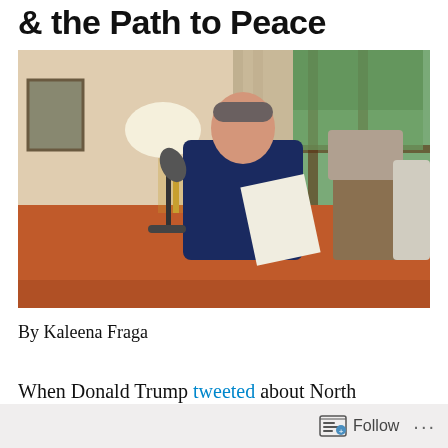& the Path to Peace
[Figure (photo): A man in a dark navy sweater sits at a desk with a red/orange tablecloth, reading papers in front of a microphone on a stand. Behind him are large windows showing trees outside, and a floor lamp with a white shade is visible to the left. A wooden chair with a gray cushion is to his right.]
By Kaleena Fraga
When Donald Trump tweeted about North
Follow ...